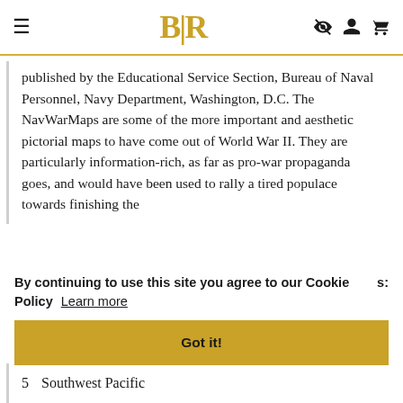BLR
published by the Educational Service Section, Bureau of Naval Personnel, Navy Department, Washington, D.C. The NavWarMaps are some of the more important and aesthetic pictorial maps to have come out of World War II. They are particularly information-rich, as far as pro-war propaganda goes, and would have been used to rally a tired populace towards finishing the
By continuing to use this site you agree to our Cookie Policy  Learn more
Got it!
5  Southwest Pacific